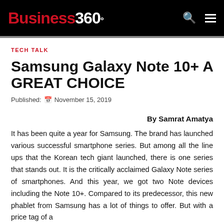Business 360°
TECH TALK
Samsung Galaxy Note 10+ A GREAT CHOICE
Published: November 15, 2019
By Samrat Amatya
It has been quite a year for Samsung. The brand has launched various successful smartphone series. But among all the line ups that the Korean tech giant launched, there is one series that stands out. It is the critically acclaimed Galaxy Note series of smartphones. And this year, we got two Note devices including the Note 10+. Compared to its predecessor, this new phablet from Samsung has a lot of things to offer. But with a price tag of a